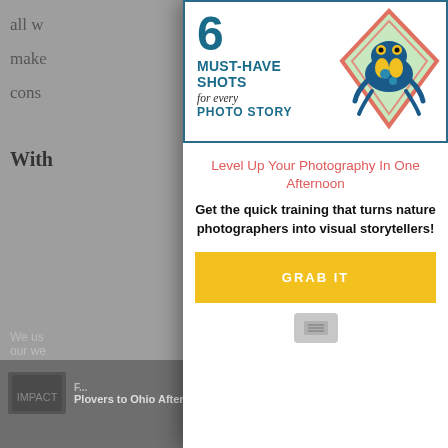all w
make
cons
With
[Figure (illustration): Popup modal overlay showing a '6 Must-Have Shots for every Photo Story' banner with a diamond-shaped frog illustration, a coral-colored tagline 'Level Up Your Photography In One Afternoon', bold description text, and a yellow GRAB IT button.]
6 MUST-HAVE SHOTS for every PHOTO STORY
Level Up Your Photography In One Afternoon
Get the quick training that turns nature photographers into visual storytellers!
GRAB IT
We use cookies...
Plovers to Ohio After 83...